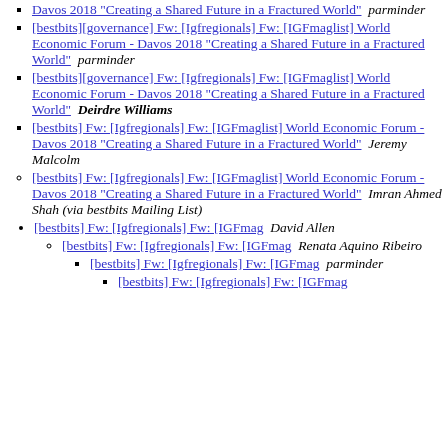[bestbits][governance] Fw: [Igfregionals] Fw: [IGFmaglist] World Economic Forum - Davos 2018 "Creating a Shared Future in a Fractured World" parminder
[bestbits][governance] Fw: [Igfregionals] Fw: [IGFmaglist] World Economic Forum - Davos 2018 "Creating a Shared Future in a Fractured World" parminder
[bestbits][governance] Fw: [Igfregionals] Fw: [IGFmaglist] World Economic Forum - Davos 2018 "Creating a Shared Future in a Fractured World" Deirdre Williams
[bestbits] Fw: [Igfregionals] Fw: [IGFmaglist] World Economic Forum - Davos 2018 "Creating a Shared Future in a Fractured World" Jeremy Malcolm
[bestbits] Fw: [Igfregionals] Fw: [IGFmaglist] World Economic Forum - Davos 2018 "Creating a Shared Future in a Fractured World" Imran Ahmed Shah (via bestbits Mailing List)
[bestbits] Fw: [Igfregionals] Fw: [IGFmag David Allen
[bestbits] Fw: [Igfregionals] Fw: [IGFmag Renata Aquino Ribeiro
[bestbits] Fw: [Igfregionals] Fw: [IGFmag parminder
[bestbits] Fw: [Igfregionals] Fw: [IGFmag